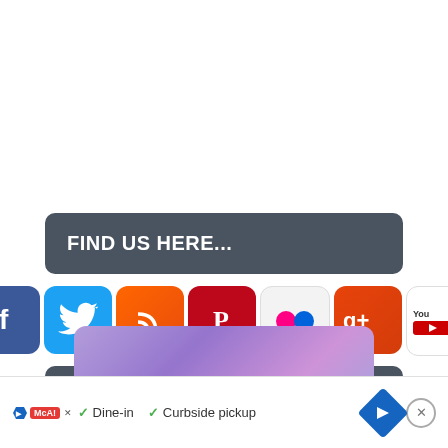FIND US HERE...
[Figure (infographic): Row of social media icons: Facebook, Twitter, RSS, Pinterest, Flickr, Google+, YouTube]
DISNEY RESTAURANT MENUS AND REVIEWS
[Figure (infographic): Purple/lavender banner beginning to appear at bottom of page]
Dine-in   Curbside pickup